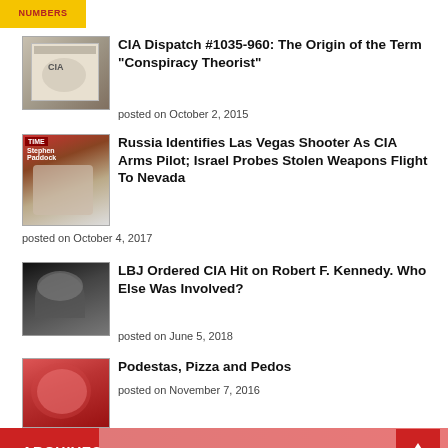[Figure (other): Yellow box with red text reading NUMBERS]
[Figure (photo): Thumbnail image of CIA dispatch document]
CIA Dispatch #1035-960: The Origin of the Term “Conspiracy Theorist”
posted on October 2, 2015
[Figure (photo): Thumbnail image of Stephen Paddock]
Russia Identifies Las Vegas Shooter As CIA Arms Pilot; Israel Probes Stolen Weapons Flight To Nevada
posted on October 4, 2017
[Figure (photo): Thumbnail black and white image related to RFK]
LBJ Ordered CIA Hit on Robert F. Kennedy. Who Else Was Involved?
posted on June 5, 2018
[Figure (photo): Thumbnail image with red-haired person]
Podestas, Pizza and Pedos
posted on November 7, 2016
ARCHIVES
Select Month